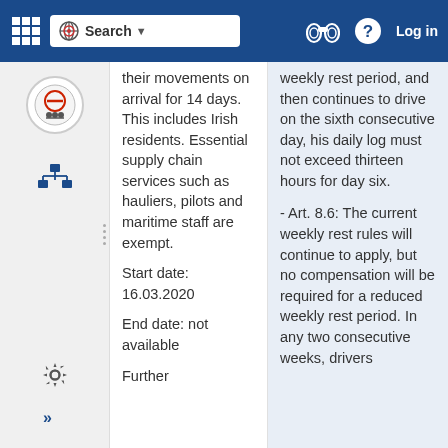Search | Log in
their movements on arrival for 14 days. This includes Irish residents. Essential supply chain services such as hauliers, pilots and maritime staff are exempt.
Start date: 16.03.2020
End date: not available
Further
weekly rest period, and then continues to drive on the sixth consecutive day, his daily log must not exceed thirteen hours for day six.
- Art. 8.6: The current weekly rest rules will continue to apply, but no compensation will be required for a reduced weekly rest period. In any two consecutive weeks, drivers